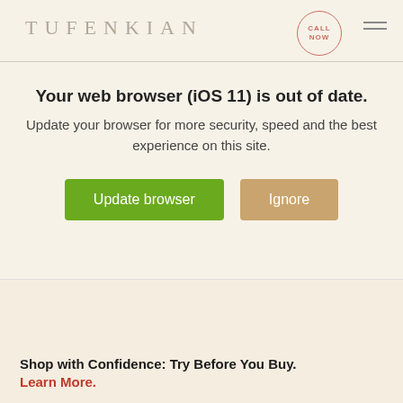[Figure (screenshot): Tufenkian website header with logo, CALL NOW circular badge, and hamburger menu icon on a beige background]
Your web browser (iOS 11) is out of date.
Update your browser for more security, speed and the best experience on this site.
[Figure (other): Two buttons: 'Update browser' (green) and 'Ignore' (tan/gold)]
Shop with Confidence: Try Before You Buy.
Learn More.